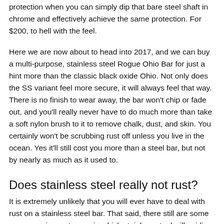protection when you can simply dip that bare steel shaft in chrome and effectively achieve the same protection. For $200, to hell with the feel.
Here we are now about to head into 2017, and we can buy a multi-purpose, stainless steel Rogue Ohio Bar for just a hint more than the classic black oxide Ohio. Not only does the SS variant feel more secure, it will always feel that way. There is no finish to wear away, the bar won't chip or fade out, and you'll really never have to do much more than take a soft nylon brush to it to remove chalk, dust, and skin. You certainly won't be scrubbing rust off unless you live in the ocean. Yes it'll still cost you more than a steel bar, but not by nearly as much as it used to.
Does stainless steel really not rust?
It is extremely unlikely that you will ever have to deal with rust on a stainless steel bar. That said, there still are some very rare circumstances in which stainless steel will oxidize. Going into detail